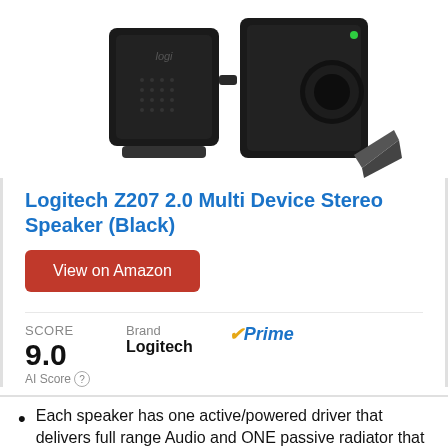[Figure (photo): Logitech Z207 2.0 stereo speakers in black — two small rectangular speaker units with a circular volume/control knob on the right unit and a grey stand. Logitech logo visible on left speaker.]
Logitech Z207 2.0 Multi Device Stereo Speaker (Black)
View on Amazon
SCORE
9.0  AI Score
Brand
Logitech
Prime
Each speaker has one active/powered driver that delivers full range Audio and ONE passive radiator that provides bass extension.
On-speaker headphone jack Plus convenient controls for easy access to Bluetooth wireless